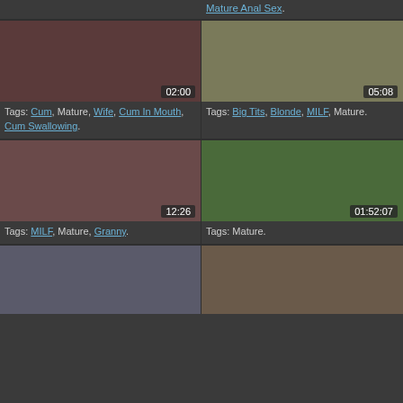Tags: Mature Anal Sex.
[Figure (photo): Close-up video thumbnail, duration 02:00]
Tags: Cum, Mature, Wife, Cum In Mouth, Cum Swallowing.
[Figure (photo): Blonde woman on bed thumbnail, duration 05:08]
Tags: Big Tits, Blonde, MILF, Mature.
[Figure (photo): Video thumbnail, duration 12:26]
Tags: MILF, Mature, Granny.
[Figure (photo): Outdoor video thumbnail, duration 01:52:07]
Tags: Mature.
[Figure (photo): Blonde woman standing thumbnail]
[Figure (photo): Two people on couch thumbnail]